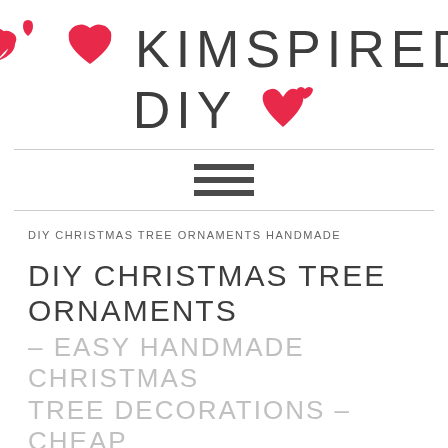[Figure (logo): Kimspired DIY logo with red hearts and large light-weight text reading KIMSPIRED DIY]
[Figure (other): Hamburger menu icon (three horizontal lines)]
DIY CHRISTMAS TREE ORNAMENTS HANDMADE
DIY CHRISTMAS TREE ORNAMENTS – EASY HANDMADE CHRISTMAS TREE DECORATIONS – CHEAP